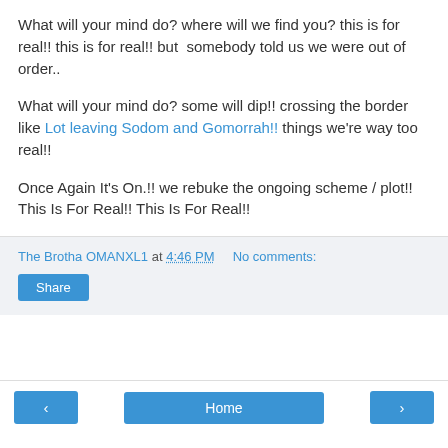What will your mind do? where will we find you? this is for real!! this is for real!! but  somebody told us we were out of order..
What will your mind do? some will dip!! crossing the border like Lot leaving Sodom and Gomorrah!! things we're way too real!!
Once Again It's On.!! we rebuke the ongoing scheme / plot!! This Is For Real!! This Is For Real!!
The Brotha OMANXL1 at 4:46 PM    No comments:
Share
< Home >